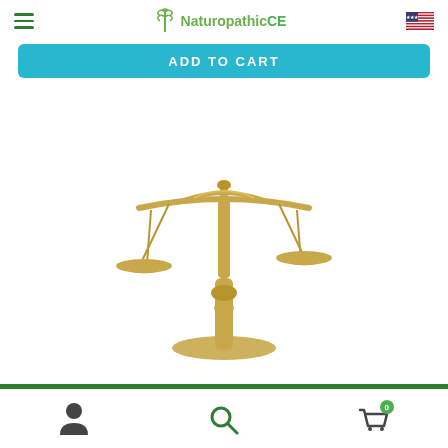NaturopathicCE
[Figure (screenshot): ADD TO CART button in cyan/teal color]
[Figure (photo): Golden brass balance scales (scales of justice) on a white background]
4.7 (7)   2 hours
$80.00